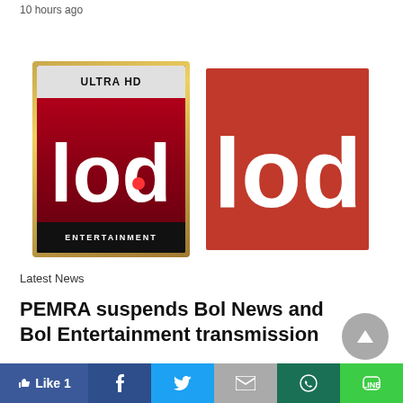10 hours ago
[Figure (logo): BOL Ultra HD Entertainment logo (left) and BOL News logo (right) side by side]
Latest News
PEMRA suspends Bol News and Bol Entertainment transmission
PEMRA has suspended Bol News and Bol Entertainment
[Figure (other): Social sharing bar with Like 1, Facebook, Twitter, Gmail, WhatsApp, and LINE buttons]